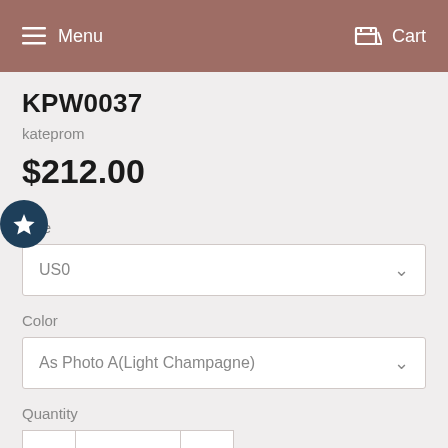Menu  Cart
KPW0037
kateprom
$212.00
Size
US0
Color
As Photo A(Light Champagne)
Quantity
1